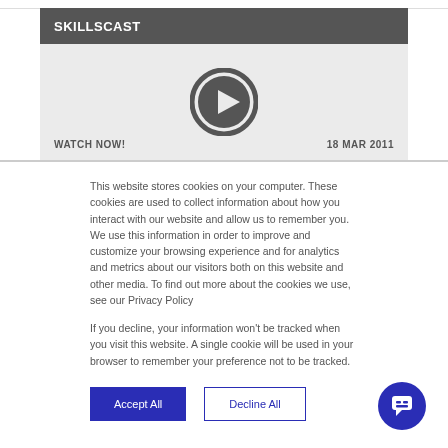SKILLSCAST
[Figure (screenshot): Video player area with play button icon, WATCH NOW! label on left and 18 MAR 2011 date on right, on a light grey background]
This website stores cookies on your computer. These cookies are used to collect information about how you interact with our website and allow us to remember you. We use this information in order to improve and customize your browsing experience and for analytics and metrics about our visitors both on this website and other media. To find out more about the cookies we use, see our Privacy Policy
If you decline, your information won't be tracked when you visit this website. A single cookie will be used in your browser to remember your preference not to be tracked.
Accept All   Decline All